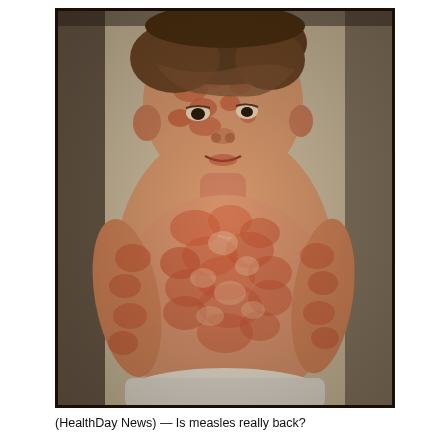[Figure (photo): Black and white photograph of a young toddler with measles rash covering the face, torso, and arms. The child is shirtless with a diaper visible at the bottom, showing characteristic measles maculopapular rash all over the body.]
(HealthDay News) — Is measles really back?